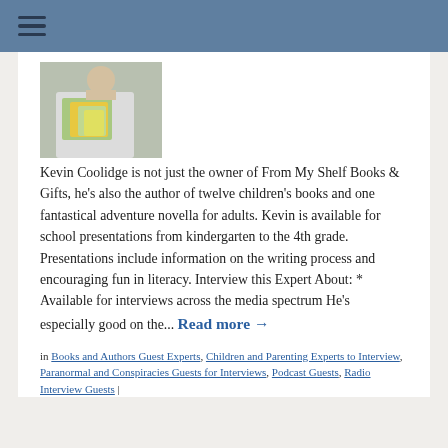≡ (hamburger menu)
[Figure (photo): Photo of Kevin Coolidge holding children's books, wearing a white shirt]
Kevin Coolidge is not just the owner of From My Shelf Books & Gifts, he's also the author of twelve children's books and one fantastical adventure novella for adults. Kevin is available for school presentations from kindergarten to the 4th grade. Presentations include information on the writing process and encouraging fun in literacy. Interview this Expert About: * Available for interviews across the media spectrum He's especially good on the... Read more →
in Books and Authors Guest Experts, Children and Parenting Experts to Interview, Paranormal and Conspiracies Guests for Interviews, Podcast Guests, Radio Interview Guests |